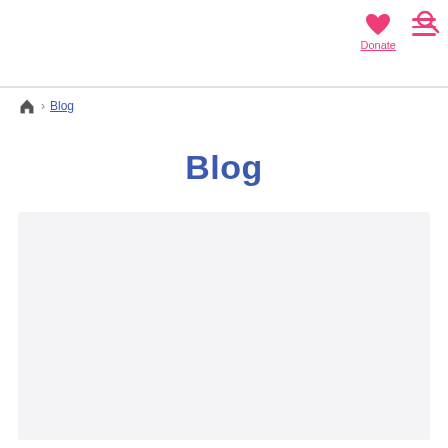Donate | Navigation | Search
🏠 > Blog
Blog
[Figure (other): Light grey content area placeholder below the Blog title]